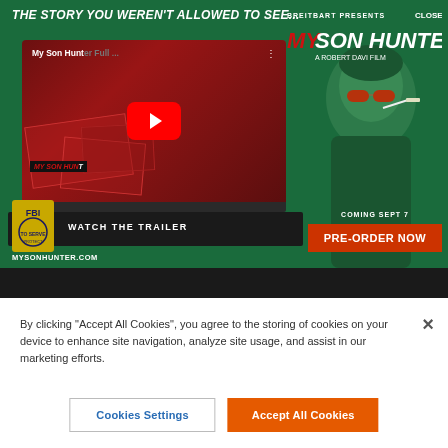[Figure (screenshot): My Son Hunter movie advertisement banner. Green-tinted background with man wearing red sunglasses smoking. Left side shows a laptop with YouTube player showing 'My Son Hunter Full...' title. Red play button visible. Text 'WATCH THE TRAILER' below laptop. FBI badge in bottom-left. Breitbart Presents 'My Son Hunter - A Robert Davi Film' logo top-right. 'COMING SEPT 7' and 'PRE-ORDER NOW' red button on right. MYSONHUNTER.COM at bottom-left.]
THE STORY YOU WEREN'T ALLOWED TO SEE...
WATCH THE TRAILER
COMING SEPT 7
PRE-ORDER NOW
MYSONHUNTER.COM
By clicking “Accept All Cookies”, you agree to the storing of cookies on your device to enhance site navigation, analyze site usage, and assist in our marketing efforts.
Cookies Settings
Accept All Cookies